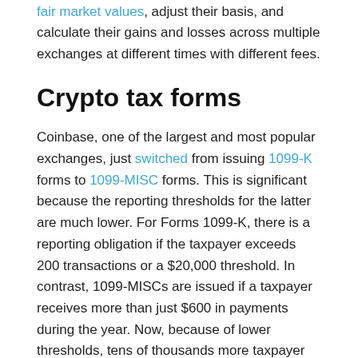fair market values, adjust their basis, and calculate their gains and losses across multiple exchanges at different times with different fees.
Crypto tax forms
Coinbase, one of the largest and most popular exchanges, just switched from issuing 1099-K forms to 1099-MISC forms. This is significant because the reporting thresholds for the latter are much lower. For Forms 1099-K, there is a reporting obligation if the taxpayer exceeds 200 transactions or a $20,000 threshold. In contrast, 1099-MISCs are issued if a taxpayer receives more than just $600 in payments during the year. Now, because of lower thresholds, tens of thousands more taxpayer names are being provided to the IRS — all without a mention of basis. Until third-party reporting of cryptocurrency is in line with other capital